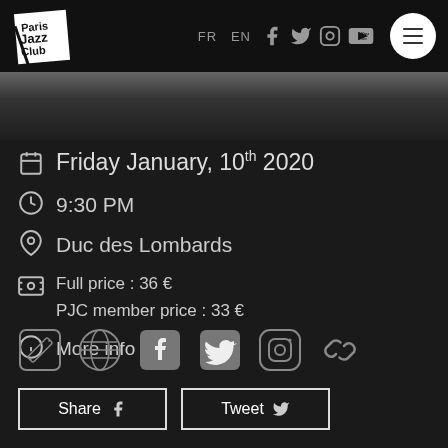[Figure (logo): Paris Jazz Club logo in black and white]
FR EN
Friday January, 10th 2020
9:30 PM
Duc des Lombards
Full price : 36 €
PJC member price : 33 €
More info
[Figure (infographic): Row of social/action icons: ticket, globe, facebook, twitter, instagram, link]
Share
Tweet